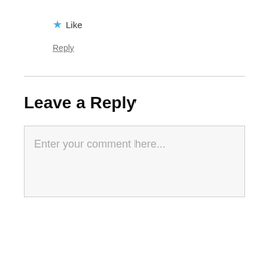★ Like
Reply
Leave a Reply
Enter your comment here...